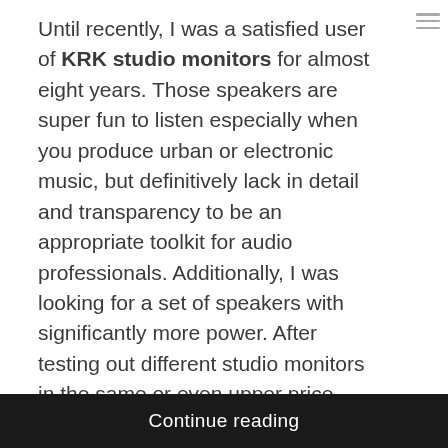Until recently, I was a satisfied user of KRK studio monitors for almost eight years. Those speakers are super fun to listen especially when you produce urban or electronic music, but definitively lack in detail and transparency to be an appropriate toolkit for audio professionals. Additionally, I was looking for a set of speakers with significantly more power. After testing out different studio monitors in the same or even upper price range from brands like Focal (Shape Twin and Twin 6), Dynaudio (LYD-48), KS Digital (C88-Reference) and Neumann (KH 310A), I ended up buying the A77X by Adam Audio. Read in the following, what these monitors make special and why I have chosen them at the end.
Continue reading